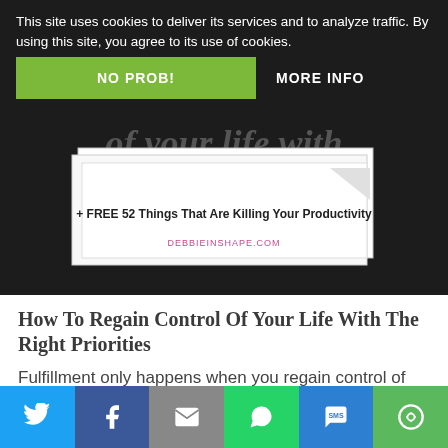This site uses cookies to deliver its services and to analyze traffic. By using this site, you agree to its use of cookies.
NO PROB!
MORE INFO
[Figure (photo): Book cover image with italic text showing 'of your life with priorities' and a banner reading '+ FREE 52 Things That Are Killing Your Productivity', with DEBBIEINSHAPE.COM watermark]
How To Regain Control Of Your Life With The Right Priorities
Fulfillment only happens when you regain control of your life. Learn how priorities can get you what you want. Unless we
[Figure (infographic): Social share bar with Twitter, Facebook, Email, WhatsApp, SMS, and other sharing buttons]